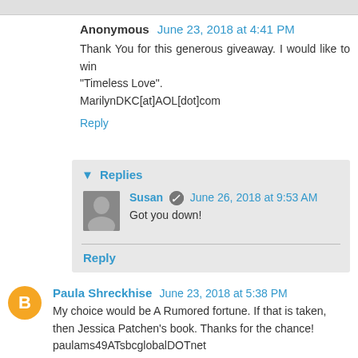Anonymous June 23, 2018 at 4:41 PM
Thank You for this generous giveaway. I would like to win "Timeless Love".
MarilynDKC[at]AOL[dot]com
Reply
Replies
Susan June 26, 2018 at 9:53 AM
Got you down!
Reply
Paula Shreckhise June 23, 2018 at 5:38 PM
My choice would be A Rumored fortune. If that is taken, then Jessica Patchen's book. Thanks for the chance!
paulams49ATsbcglobalDOTnet